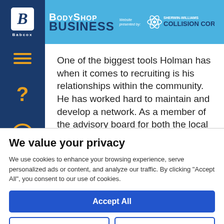BodyShop Business — Website presented by: Sherwin-Williams Collision Core
One of the biggest tools Holman has when it comes to recruiting is his relationships within the community. He has worked hard to maintain and develop a network. As a member of the advisory board for both the local community college's
We value your privacy
We use cookies to enhance your browsing experience, serve personalized ads or content, and analyze our traffic. By clicking "Accept All", you consent to our use of cookies.
Accept All
Customize
Reject All